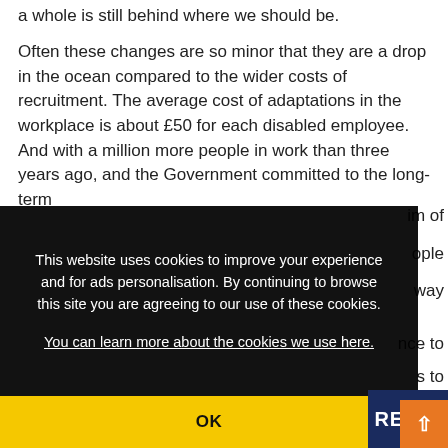a whole is still behind where we should be.
Often these changes are so minor that they are a drop in the ocean compared to the wider costs of recruitment. The average cost of adaptations in the workplace is about £50 for each disabled employee. And with a million more people in work than three years ago, and the Government committed to the long-term aim of [full employment, we need to find a way] [to give guidance to] [businesses to]
This website uses cookies to improve your experience and for ads personalisation. By continuing to browse this site you are agreeing to our use of these cookies.
You can learn more about the cookies we use here.
OK
REGIS